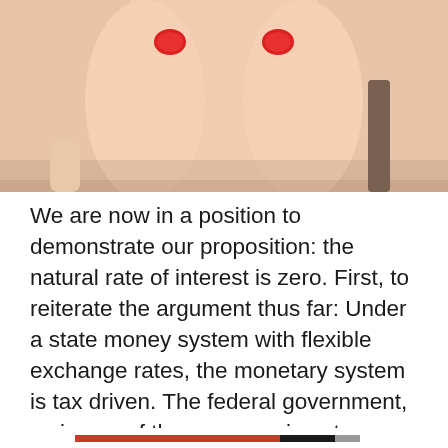[Figure (photo): Close-up photo of hands with red nails touching skin, upper torso area, light skin tone background]
We are now in a position to demonstrate our proposition: the natural rate of interest is zero. First, to reiterate the argument thus far: Under a state money system with flexible exchange rates, the monetary system is tax driven. The federal government, as issuer of the currency, is not revenue constrained. Taxes do not finance spending, but
Privacy & Cookies: This site uses cookies. By continuing to use this website, you agree to their use.
To find out more, including how to control cookies, see here: Cookie Policy
Close and accept